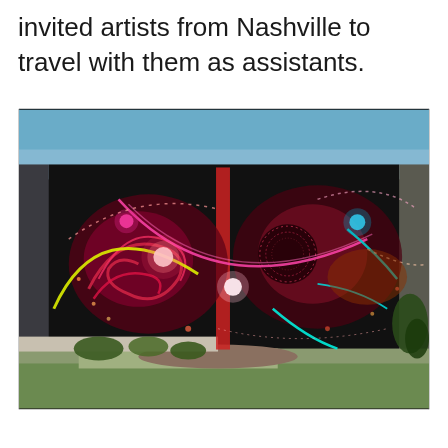invited artists from Nashville to travel with them as assistants.
[Figure (photo): Large colorful mural on a dark building wall featuring swirling cosmic/floral abstract forms in red, pink, magenta, orange with neon accents of cyan, yellow, and pink, painted on a black background. The mural covers the entire side of a building. Green grass and dirt are visible in the foreground, with blue sky above.]